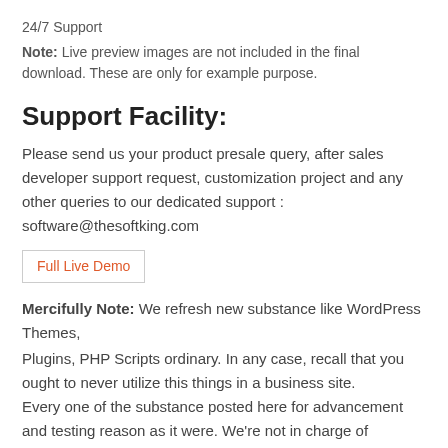24/7 Support
Note: Live preview images are not included in the final download. These are only for example purpose.
Support Facility:
Please send us your product presale query, after sales developer support request, customization project and any other queries to our dedicated support : software@thesoftking.com
[Figure (other): Button labeled 'Full Live Demo' with orange/red text and light border]
Mercifully Note: We refresh new substance like WordPress Themes, Plugins, PHP Scripts ordinary. In any case, recall that you ought to never utilize this things in a business site. Every one of the substance posted here for advancement and testing reason as it were. We're not in charge of